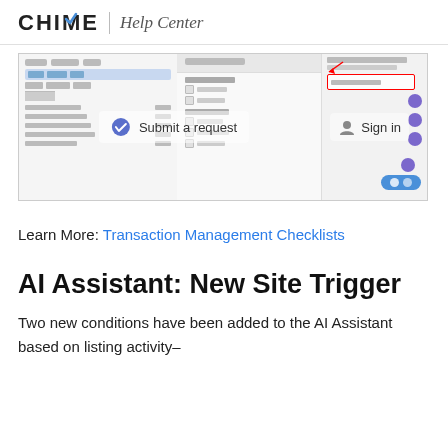CHIME Help Center
[Figure (screenshot): Screenshot of a transaction management checklist interface with a 'Submit a request' button and 'Sign in' link visible. A red rectangle highlights a UI element in the top right corner.]
Learn More: Transaction Management Checklists
AI Assistant: New Site Trigger
Two new conditions have been added to the AI Assistant based on listing activity–